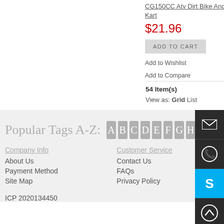CG150CC Atv Dirt Bike And Go Kart
$21.96
ADD TO CART
Add to Wishlist
Add to Compare
CB25... Kart
$29...
ADD TO CART (partial)
54 Item(s)
View as: Grid  List
Popular Tags A-Z: A B C D E F G H I J
Company Info
About Us
Payment Method
Site Map
Customer Service
Contact Us
FAQs
Privacy Policy
ICP 2020134450